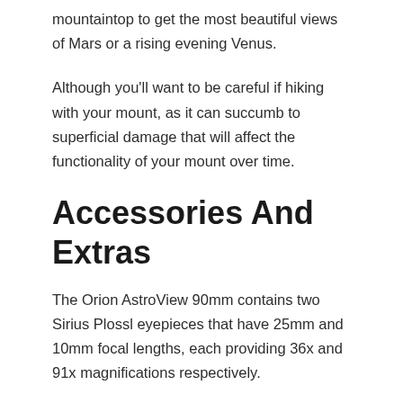mountaintop to get the most beautiful views of Mars or a rising evening Venus.
Although you'll want to be careful if hiking with your mount, as it can succumb to superficial damage that will affect the functionality of your mount over time.
Accessories And Extras
The Orion AstroView 90mm contains two Sirius Plossl eyepieces that have 25mm and 10mm focal lengths, each providing 36x and 91x magnifications respectively.
They have a 52-degree field of view which means you can cover a wider portion of the sky, enabling you to become accustomed to constellations and the relative positions of the planets.
These eyepieces are multi-coated, which will enhance your